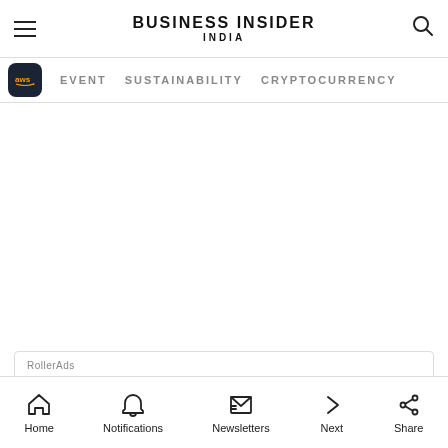BUSINESS INSIDER INDIA
EVENT   SUSTAINABILITY   CRYPTOCURRENCY
RollerAds
Boost your AD revenue with RollerAds — an adv
twork with top-performing AD formats
Home   Notifications   Newsletters   Next   Share